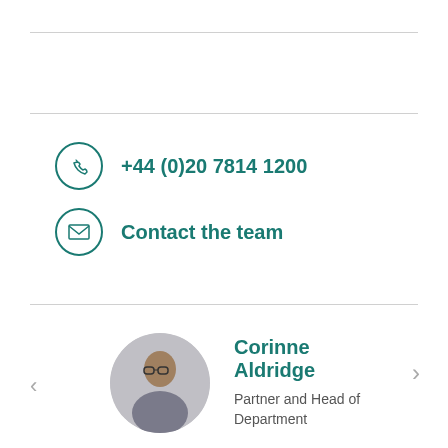+44 (0)20 7814 1200
Contact the team
Corinne Aldridge
Partner and Head of Department
VIEW FULL TEAM